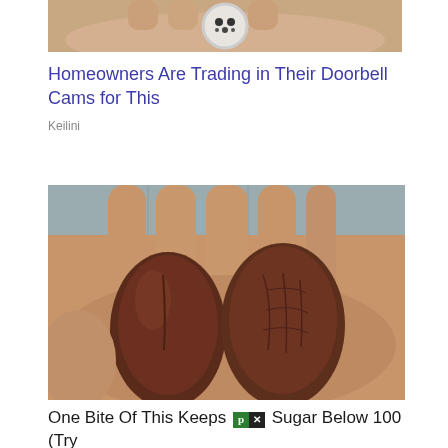[Figure (photo): A hand holding a small round white security camera device, viewed from above.]
Homeowners Are Trading in Their Doorbell Cams for This
Keilini
[Figure (photo): A close-up photograph of an open hand palm holding two large dark brown dates (fruit).]
One Bite Of This Keeps [ad badge] Sugar Below 100 (Try